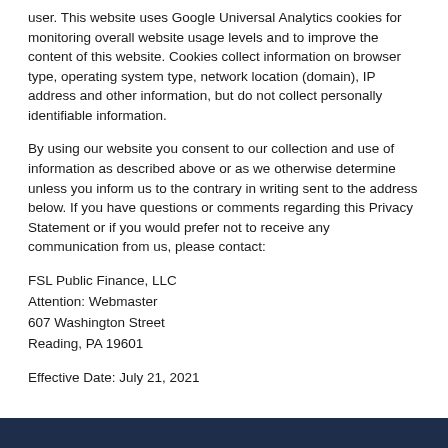user. This website uses Google Universal Analytics cookies for monitoring overall website usage levels and to improve the content of this website. Cookies collect information on browser type, operating system type, network location (domain), IP address and other information, but do not collect personally identifiable information.
By using our website you consent to our collection and use of information as described above or as we otherwise determine unless you inform us to the contrary in writing sent to the address below. If you have questions or comments regarding this Privacy Statement or if you would prefer not to receive any communication from us, please contact:
FSL Public Finance, LLC
Attention: Webmaster
607 Washington Street
Reading, PA 19601
Effective Date: July 21, 2021